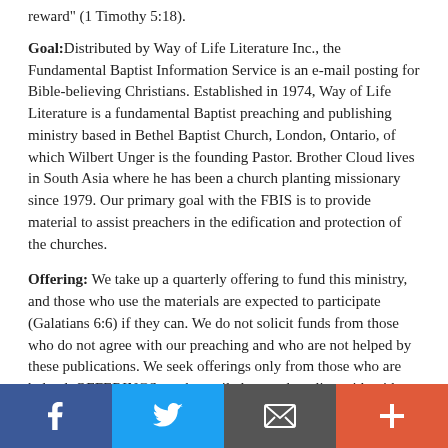reward" (1 Timothy 5:18).
Goal: Distributed by Way of Life Literature Inc., the Fundamental Baptist Information Service is an e-mail posting for Bible-believing Christians. Established in 1974, Way of Life Literature is a fundamental Baptist preaching and publishing ministry based in Bethel Baptist Church, London, Ontario, of which Wilbert Unger is the founding Pastor. Brother Cloud lives in South Asia where he has been a church planting missionary since 1979. Our primary goal with the FBIS is to provide material to assist preachers in the edification and protection of the churches.
Offering: We take up a quarterly offering to fund this ministry, and those who use the materials are expected to participate (Galatians 6:6) if they can. We do not solicit funds from those who do not agree with our preaching and who are not helped by these publications. We seek offerings only from those who are helped. OFFERINGS can be mailed or made online with with Visa, Mastercard, Discover, or Paypal. For information see:
[Figure (infographic): Social media share/action bar with four buttons: Facebook (blue), Twitter (light blue), Email/envelope (dark gray), and Plus/more (orange-red)]